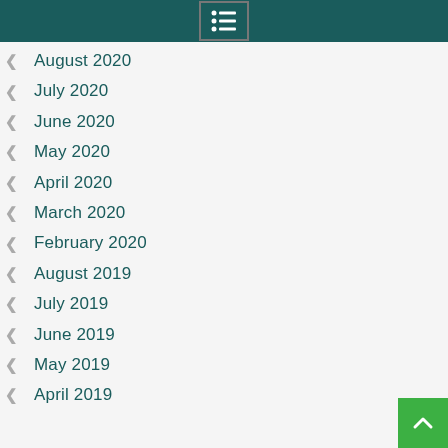August 2020
July 2020
June 2020
May 2020
April 2020
March 2020
February 2020
August 2019
July 2019
June 2019
May 2019
April 2019